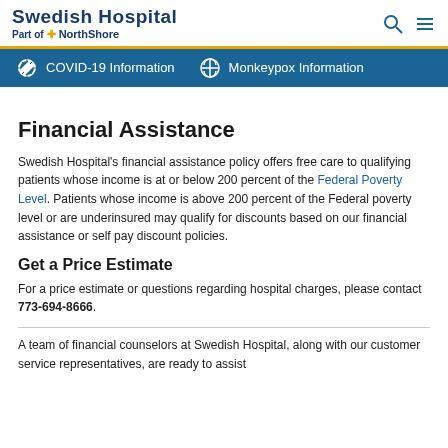Swedish Hospital Part of NorthShore
COVID-19 Information   Monkeypox Information
Financial Assistance
Swedish Hospital's financial assistance policy offers free care to qualifying patients whose income is at or below 200 percent of the Federal Poverty Level. Patients whose income is above 200 percent of the Federal poverty level or are underinsured may qualify for discounts based on our financial assistance or self pay discount policies.
Get a Price Estimate
For a price estimate or questions regarding hospital charges, please contact 773-694-8666.
A team of financial counselors at Swedish Hospital, along with our customer service representatives, are ready to assist